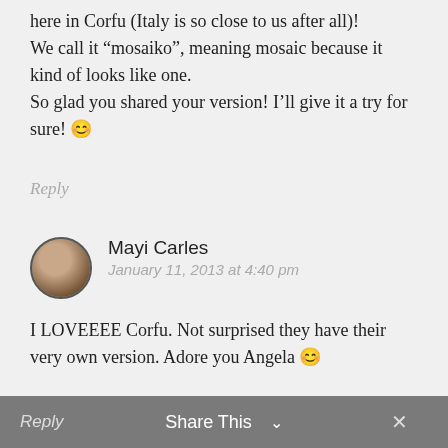here in Corfu (Italy is so close to us after all)!
We call it “mosaiko”, meaning mosaic because it kind of looks like one.
So glad you shared your version! I’ll give it a try for sure! 😊
Reply
Mayi Carles
January 11, 2013 at 4:40 pm
I LOVEEEE Corfu. Not surprised they have their very own version. Adore you Angela 😊
Reply   Share This ∨   ×